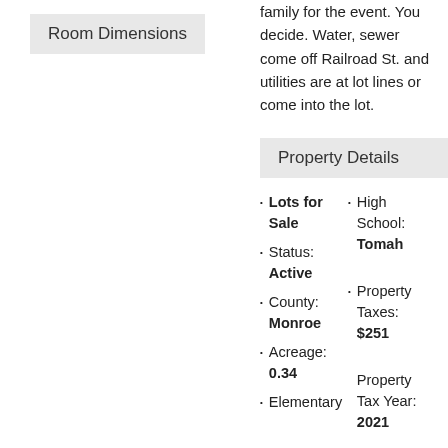Room Dimensions
family for the event. You decide. Water, sewer come off Railroad St. and utilities are at lot lines or come into the lot.
Property Details
Lots for Sale
High School: Tomah
Status: Active
Property Taxes: $251
County: Monroe
Acreage: 0.34
Property Tax Year: 2021
Elementary